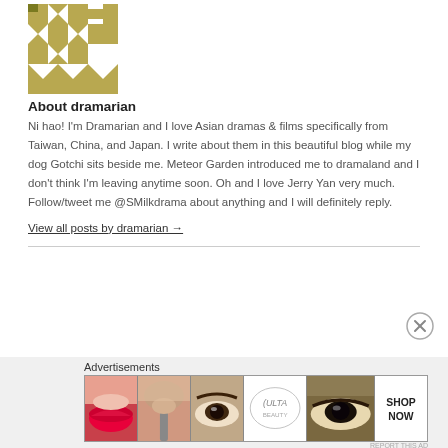[Figure (illustration): Gold and white geometric/diamond pattern avatar image]
About dramarian
Ni hao! I'm Dramarian and I love Asian dramas & films specifically from Taiwan, China, and Japan. I write about them in this beautiful blog while my dog Gotchi sits beside me. Meteor Garden introduced me to dramaland and I don't think I'm leaving anytime soon. Oh and I love Jerry Yan very much. Follow/tweet me @SMilkdrama about anything and I will definitely reply.
View all posts by dramarian →
[Figure (illustration): Close X button circle icon]
Advertisements
[Figure (photo): ULTA beauty advertisement banner showing makeup and beauty product imagery with SHOP NOW text]